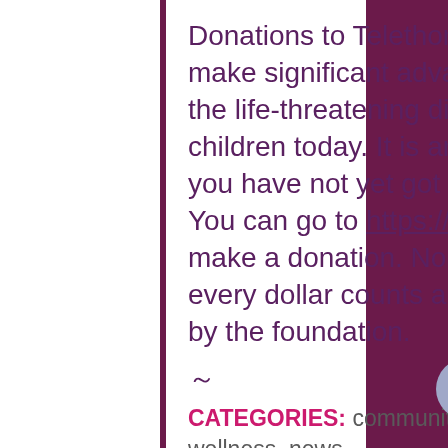Donations to Telethon help raise money to make significant advances in treating some of the life-threatening diseases that face our children today. It is an amazing cause, and if you have not yet got involved, it's not too late. You can go to https://www.telethon7.com/ to make a donation. No matter how big or small, every dollar counts and is greatly appreciated by the foundation.
CATEGORIES: community, events, exercise, health & wellness, news